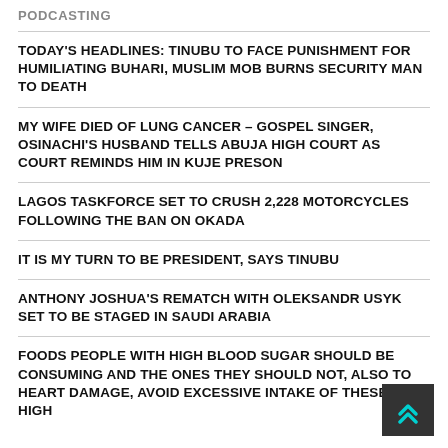PODCASTING
TODAY'S HEADLINES: TINUBU TO FACE PUNISHMENT FOR HUMILIATING BUHARI, MUSLIM MOB BURNS SECURITY MAN TO DEATH
MY WIFE DIED OF LUNG CANCER – GOSPEL SINGER, OSINACHI'S HUSBAND TELLS ABUJA HIGH COURT AS COURT REMINDS HIM IN KUJE PRESON
LAGOS TASKFORCE SET TO CRUSH 2,228 MOTORCYCLES FOLLOWING THE BAN ON OKADA
IT IS MY TURN TO BE PRESIDENT, SAYS TINUBU
ANTHONY JOSHUA'S REMATCH WITH OLEKSANDR USYK SET TO BE STAGED IN SAUDI ARABIA
FOODS PEOPLE WITH HIGH BLOOD SUGAR SHOULD BE CONSUMING AND THE ONES THEY SHOULD NOT, ALSO TO HEART DAMAGE, AVOID EXCESSIVE INTAKE OF THESE 4 HIGH